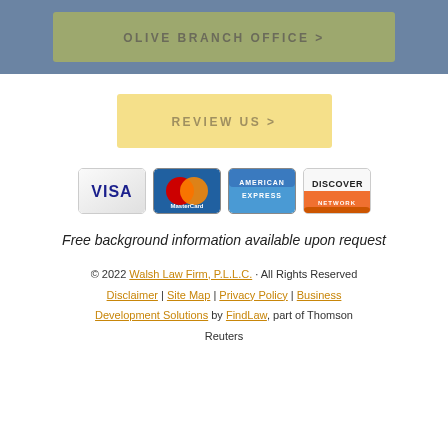OLIVE BRANCH OFFICE >
REVIEW US >
[Figure (logo): Payment method logos: Visa, MasterCard, American Express, Discover Network]
Free background information available upon request
© 2022 Walsh Law Firm, P.L.L.C. · All Rights Reserved | Disclaimer | Site Map | Privacy Policy | Business Development Solutions by FindLaw, part of Thomson Reuters